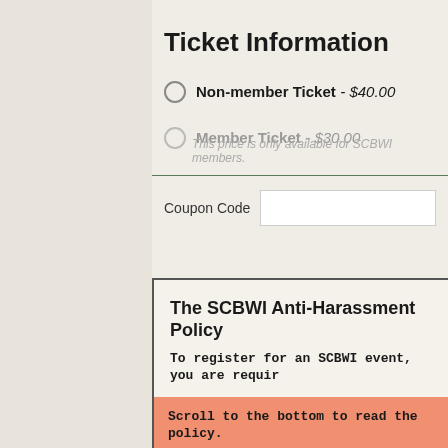Ticket Information
Non-member Ticket - $40.00
Member Ticket - $30.00
This price is only available for SCBWI members.
Coupon Code
The SCBWI Anti-Harassment Policy
To register for an SCBWI event, you are requir
Scroll to the bottom to read the policy.

You will then be able to click the checkbox ind